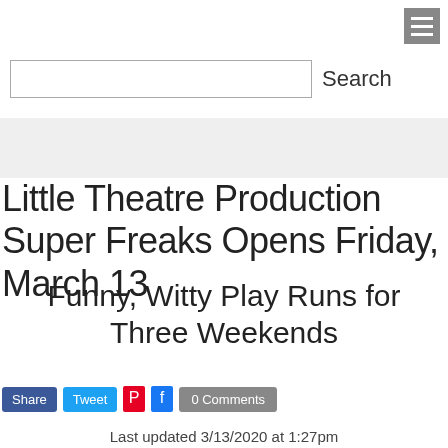☰ (menu button)
Search (search box)
Little Theatre Production Super Freaks Opens Friday, March 13
Funny, Witty Play Runs for Three Weekends
Share  Tweet  0 Comments
Last updated 3/13/2020 at 1:27pm